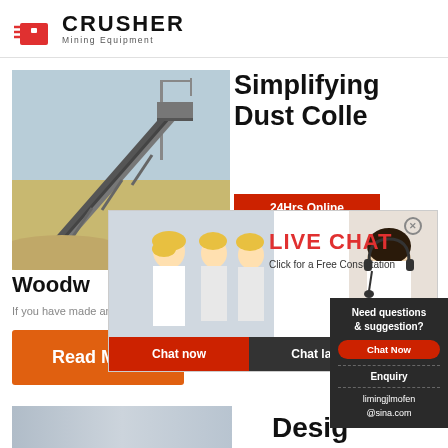[Figure (logo): Crusher Mining Equipment logo with red shopping bag icon and bold CRUSHER text]
[Figure (photo): Industrial conveyor belt/mining equipment against sky background]
Simplifying Dust Collec...
Woodw...
If you have made an investment in a powerful d...
[Figure (photo): Live Chat popup with workers in hard hats and customer service representative with headset]
LIVE CHAT
Click for a Free Consultation
Chat now   Chat later
24Hrs Online
Need questions & suggestion?
Chat Now
Enquiry
limingjlmofen@sina.com
[Figure (photo): Read More button - orange rectangle]
[Figure (photo): Bottom industrial equipment image strip]
Desig...